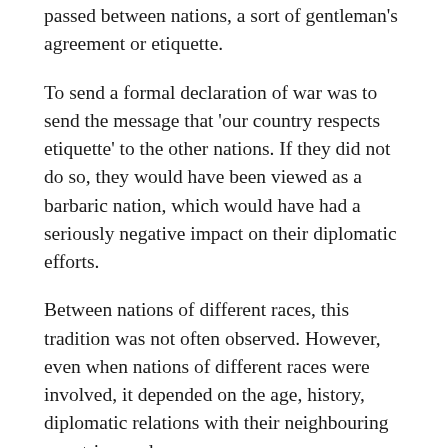passed between nations, a sort of gentleman's agreement or etiquette.
To send a formal declaration of war was to send the message that 'our country respects etiquette' to the other nations. If they did not do so, they would have been viewed as a barbaric nation, which would have had a seriously negative impact on their diplomatic efforts.
Between nations of different races, this tradition was not often observed. However, even when nations of different races were involved, it depended on the age, history, diplomatic relations with their neighbouring countries, and so on.
So given this context, how would a nation ruled by the undead, which hates the living, conduct itself? Would they provide a formal declaration of war?